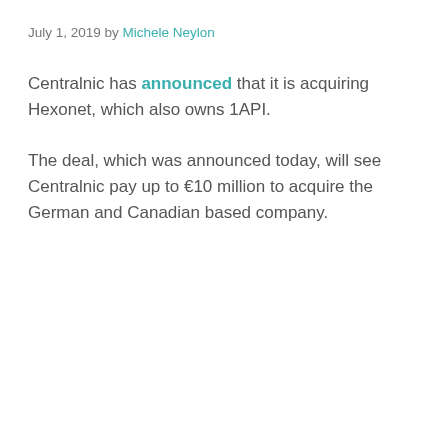July 1, 2019 by Michele Neylon
Centralnic has announced that it is acquiring Hexonet, which also owns 1API.
The deal, which was announced today, will see Centralnic pay up to €10 million to acquire the German and Canadian based company.